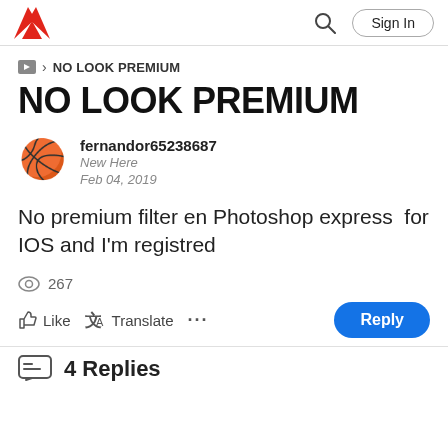Adobe Community — Sign In
NO LOOK PREMIUM
NO LOOK PREMIUM
fernandor65238687
New Here
Feb 04, 2019
No premium filter en Photoshop express  for IOS and I'm registred
267
Like  Translate  ...  Reply
4 Replies